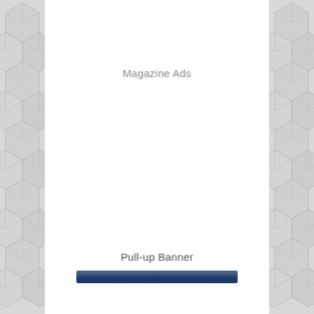[Figure (illustration): Left side panel with repeating geometric cube/hexagon pattern in light grey]
Magazine Ads
[Figure (illustration): Blue rectangular bar representing a pull-up banner graphic]
Pull-up Banner
[Figure (illustration): Right side panel with repeating geometric cube/hexagon pattern in light grey]